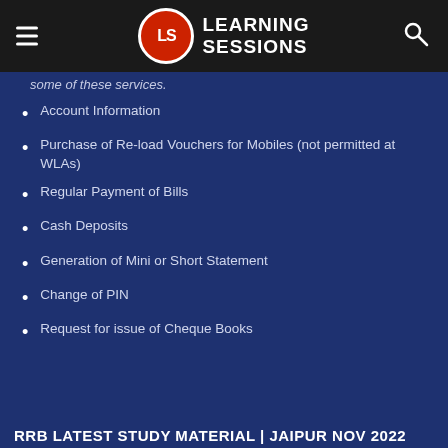[Figure (logo): Learning Sessions logo with hamburger menu and search icon on dark header bar]
some of these services.
Account Information
Purchase of Re-load Vouchers for Mobiles (not permitted at WLAs)
Regular Payment of Bills
Cash Deposits
Generation of Mini or Short Statement
Change of PIN
Request for issue of Cheque Books
RRB LATEST STUDY MATERIAL | JAIPUR NOV 2022